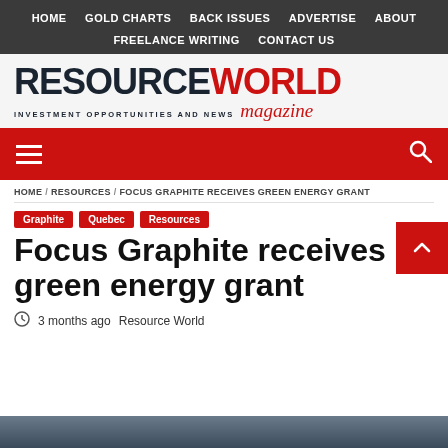HOME  GOLD CHARTS  BACK ISSUES  ADVERTISE  ABOUT  FREELANCE WRITING  CONTACT US
[Figure (logo): Resource World Magazine logo with tagline 'Investment Opportunities and News']
HOME / RESOURCES / FOCUS GRAPHITE RECEIVES GREEN ENERGY GRANT
Graphite
Quebec
Resources
Focus Graphite receives green energy grant
3 months ago  Resource World
[Figure (photo): Partial photo at bottom of page, appears to show people outdoors]